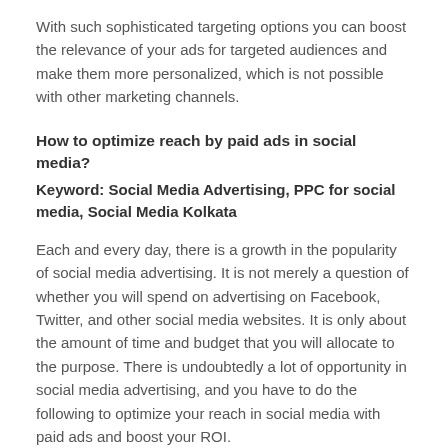With such sophisticated targeting options you can boost the relevance of your ads for targeted audiences and make them more personalized, which is not possible with other marketing channels.
How to optimize reach by paid ads in social media?
Keyword: Social Media Advertising, PPC for social media, Social Media Kolkata
Each and every day, there is a growth in the popularity of social media advertising. It is not merely a question of whether you will spend on advertising on Facebook, Twitter, and other social media websites. It is only about the amount of time and budget that you will allocate to the purpose. There is undoubtedly a lot of opportunity in social media advertising, and you have to do the following to optimize your reach in social media with paid ads and boost your ROI.
Place the ads with care
A lot of success depends on advertising at the right spot, and,